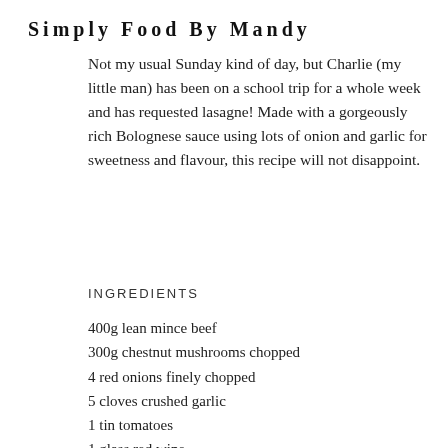Simply Food By Mandy
Not my usual Sunday kind of day, but Charlie (my little man) has been on a school trip for a whole week and has requested lasagne! Made with a gorgeously rich Bolognese sauce using lots of onion and garlic for sweetness and flavour, this recipe will not disappoint.
INGREDIENTS
400g lean mince beef
300g chestnut mushrooms chopped
4 red onions finely chopped
5 cloves crushed garlic
1 tin tomatoes
1 glass red wine